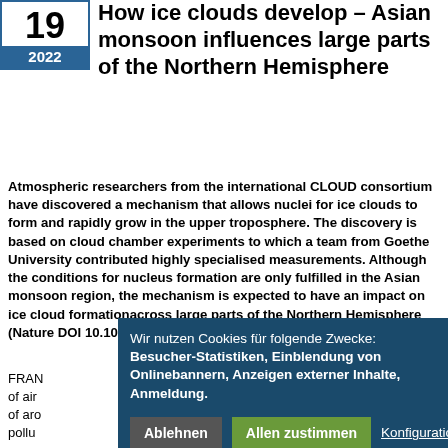19 / 2022
How ice clouds develop – Asian monsoon influences large parts of the Northern Hemisphere
Atmospheric researchers from the international CLOUD consortium have discovered a mechanism that allows nuclei for ice clouds to form and rapidly grow in the upper troposphere. The discovery is based on cloud chamber experiments to which a team from Goethe University contributed highly specialised measurements. Although the conditions for nucleus formation are only fulfilled in the Asian monsoon region, the mechanism is expected to have an impact on ice cloud formationacross large parts of the Northern Hemisphere (Nature DOI 10.1038/s41586-022-04605-4)
FRAN... of air of aro pollu resea
Wir nutzen Cookies für folgende Zwecke: Besucher-Statistiken, Einblendung von Onlinebannern, Anzeigen externer Inhalte, Anmeldung.
Ablehnen | Allen zustimmen | Konfiguration ansehen...